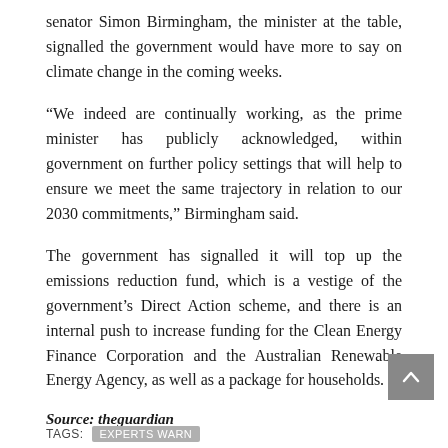senator Simon Birmingham, the minister at the table, signalled the government would have more to say on climate change in the coming weeks.
“We indeed are continually working, as the prime minister has publicly acknowledged, within government on further policy settings that will help to ensure we meet the same trajectory in relation to our 2030 commitments,” Birmingham said.
The government has signalled it will top up the emissions reduction fund, which is a vestige of the government’s Direct Action scheme, and there is an internal push to increase funding for the Clean Energy Finance Corporation and the Australian Renewable Energy Agency, as well as a package for households.
Source: theguardian
[Figure (other): Scroll-to-top button: dark grey square with upward-pointing chevron arrow in white]
TAGS: EXPERTS WARN